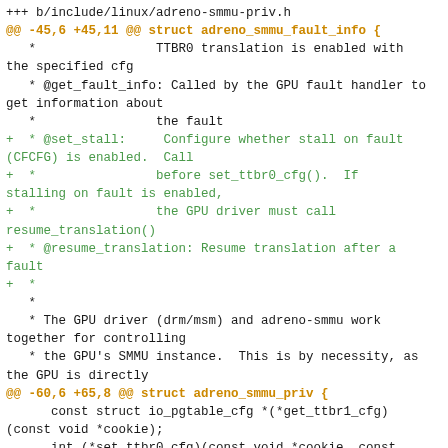Unified diff code patch showing changes to include/linux/adreno-smmu-priv.h with hunk headers and added lines for set_stall and resume_translation functions in the adreno_smmu_priv struct.